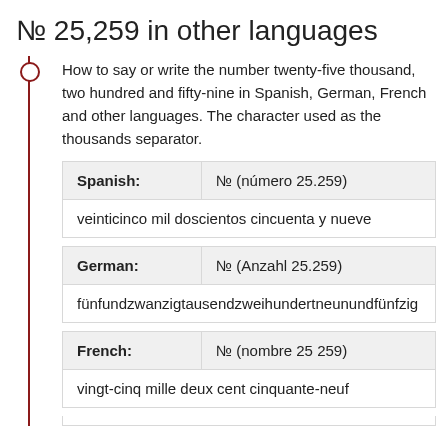№ 25,259 in other languages
How to say or write the number twenty-five thousand, two hundred and fifty-nine in Spanish, German, French and other languages. The character used as the thousands separator.
| Language | Value |
| --- | --- |
| Spanish: | № (número 25.259) |
|  | veinticinco mil doscientos cincuenta y nueve |
| German: | № (Anzahl 25.259) |
|  | fünfundzwanzigtausendzweihundertneunundfünfzig |
| French: | № (nombre 25 259) |
|  | vingt-cinq mille deux cent cinquante-neuf |